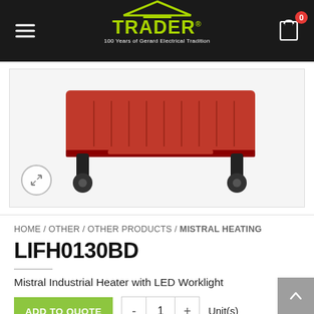TRADER — 100 Years of Gerard Electrical Tradition
[Figure (photo): Partial view of a red industrial heater on a white/light grey background, showing the base and wheels of the unit.]
HOME / OTHER / OTHER PRODUCTS / MISTRAL HEATING
LIFH0130BD
Mistral Industrial Heater with LED Worklight
ADD TO QUOTE  -  1  +  Unit(s)